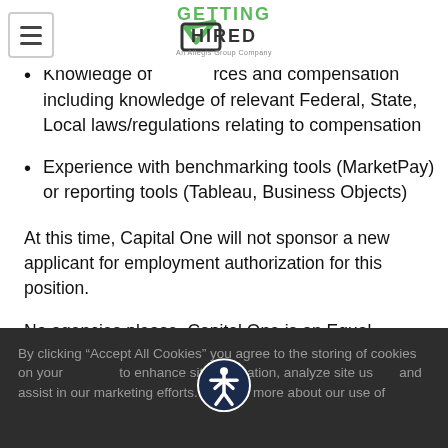[Figure (logo): Getting Hired logo with checkmark and 'An Allegis Group Company' tagline]
Knowledge of [human] resources and compensation including knowledge of relevant Federal, State, Local laws/regulations relating to compensation
Experience with benchmarking tools (MarketPay) or reporting tools (Tableau, Business Objects)
At this time, Capital One will not sponsor a new applicant for employment authorization for this position.
No agencies please. Capital One is an Equal
By clicking “Accept All Cookies” you agree to the storing of cookies on your [device] to enhance site navigation, analyze site use and assist in our marketing efforts. To learn more about our use of